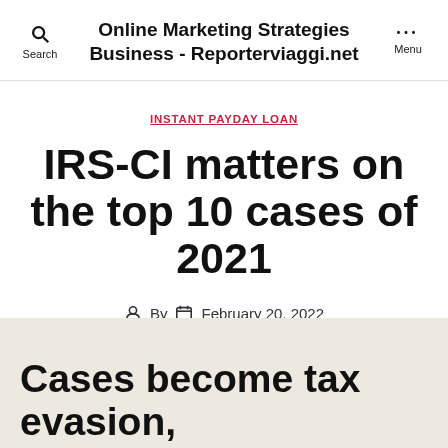Online Marketing Strategies Business - Reporterviaggi.net
INSTANT PAYDAY LOAN
IRS-CI matters on the top 10 cases of 2021
By   February 20, 2022
Cases become tax evasion,